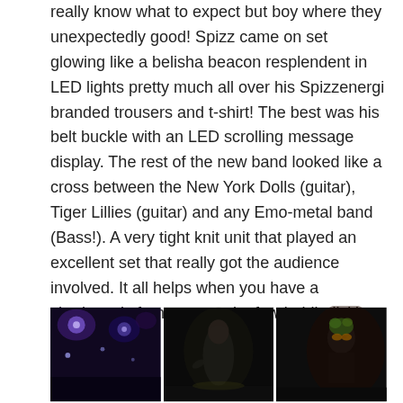really know what to expect but boy where they unexpectedly good!  Spizz came on set glowing like a belisha beacon resplendent in LED lights pretty much all over his Spizzenergi branded trousers and t-shirt!  The best was his belt buckle with an LED scrolling message display.  The rest of the new band looked like a cross between the New York Dolls (guitar), Tiger Lillies (guitar) and any Emo-metal band (Bass!).  A very tight knit unit that played an excellent set that really got the audience involved. It all helps when you have a charismatic front man and a few ‘oddballs’ in tow.
[Figure (photo): Three concert photos side by side showing a dark stage with purple/blue lights, a performer on stage, and another performer with colorful accessories]